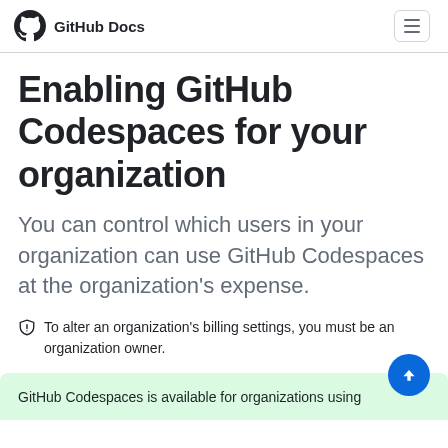GitHub Docs
Enabling GitHub Codespaces for your organization
You can control which users in your organization can use GitHub Codespaces at the organization's expense.
To alter an organization's billing settings, you must be an organization owner.
GitHub Codespaces is available for organizations using